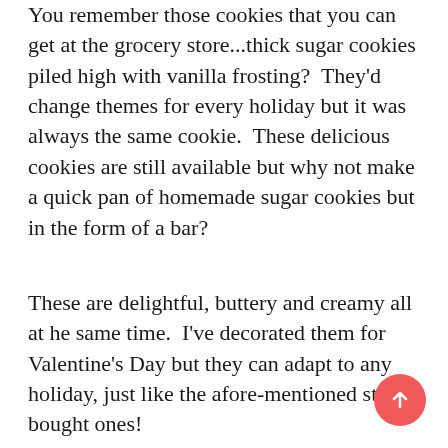You remember those cookies that you can get at the grocery store...thick sugar cookies piled high with vanilla frosting?  They'd change themes for every holiday but it was always the same cookie.  These delicious cookies are still available but why not make a quick pan of homemade sugar cookies but in the form of a bar?
These are delightful, buttery and creamy all at he same time.  I've decorated them for Valentine's Day but they can adapt to any holiday, just like the afore-mentioned store bought ones!